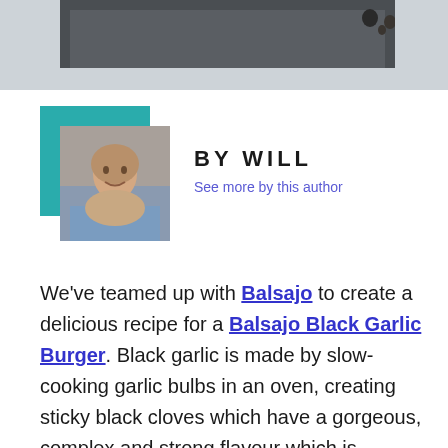[Figure (photo): Top portion of a food photography image showing a dark slate board with seeds/spices on a light grey surface]
[Figure (photo): Author photo of a smiling man in a blue shirt, with a teal square accent behind the photo]
BY WILL
See more by this author
We've teamed up with Balsajo to create a delicious recipe for a Balsajo Black Garlic Burger. Black garlic is made by slow-cooking garlic bulbs in an oven, creating sticky black cloves which have a gorgeous, complex and strong flavour which is surprisingly unlike the